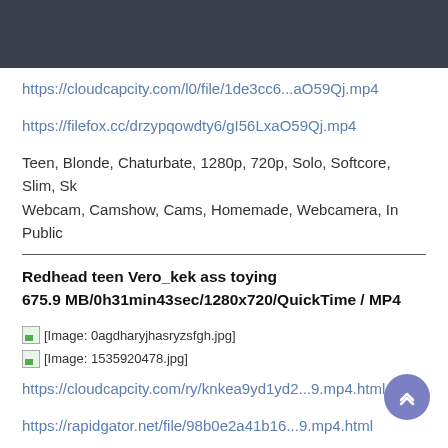https://cloudcapcity.com/l0/file/1de3cc6...aO59Qj.mp4
https://filefox.cc/drzypqowdty6/gI56LxaO59Qj.mp4
Teen, Blonde, Chaturbate, 1280p, 720p, Solo, Softcore, Slim, Sk Webcam, Camshow, Cams, Homemade, Webcamera, In Public
Redhead teen Vero_kek ass toying
675.9 MB/0h31min43sec/1280x720/QuickTime / MP4
[Figure (photo): Image placeholder: 0agdharyjhasryzsfgh.jpg]
[Figure (photo): Image placeholder: 1535920478.jpg]
https://cloudcapcity.com/ry/knkea9yd1yd2...9.mp4.html
https://rapidgator.net/file/98b0e2a41b16...9.mp4.html
https://cloudcapcity.com/l0/file/044a5f7...o03629.mp4